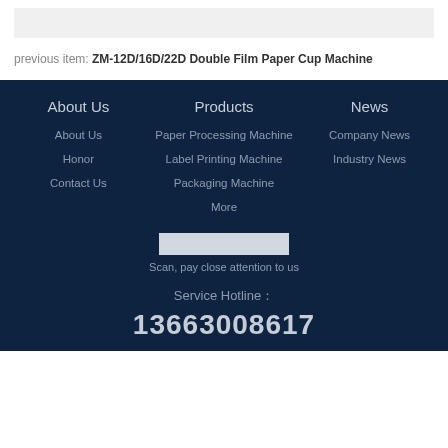[Figure (other): Light gray horizontal bar placeholder image]
previous item: ZM-12D/16D/22D Double Film Paper Cup Machine
About Us
Products
News
About Us
Honor
Contact Us
Paper Processing Machine
Label Printing Machine
Packaging Machine
More
Company News
Industry News
[Figure (other): QR code placeholder white rectangle]
Scan, pay close attention to us
Service Hotline：
13663008617